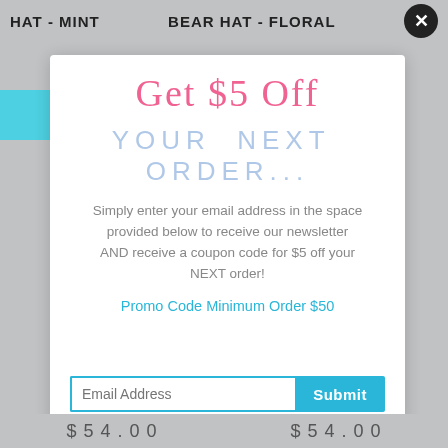HAT - MINT    BEAR HAT - FLORAL
GET $5 OFF
YOUR NEXT ORDER...
Simply enter your email address in the space provided below to receive our newsletter AND receive a coupon code for $5 off your NEXT order!
Promo Code Minimum Order $50
$ 5 4 . 0 0    $ 5 4 . 0 0